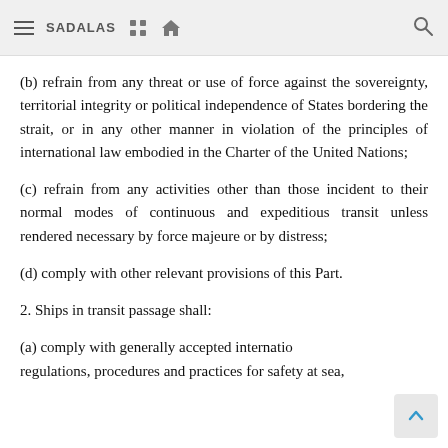SADALAS
(b) refrain from any threat or use of force against the sovereignty, territorial integrity or political independence of States bordering the strait, or in any other manner in violation of the principles of international law embodied in the Charter of the United Nations;
(c) refrain from any activities other than those incident to their normal modes of continuous and expeditious transit unless rendered necessary by force majeure or by distress;
(d) comply with other relevant provisions of this Part.
2. Ships in transit passage shall:
(a) comply with generally accepted internatio regulations, procedures and practices for safety at sea,